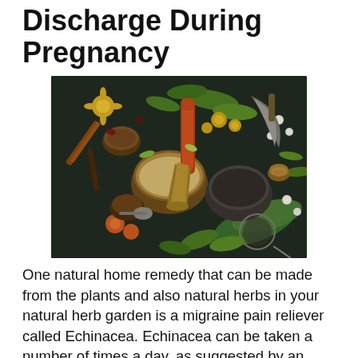Discharge During Pregnancy
[Figure (photo): Overhead flat-lay of various herbs, dried flowers, spices, wooden bowls, and metal kitchen tools arranged on a dark slate surface — an herbal/natural remedy composition.]
One natural home remedy that can be made from the plants and also natural herbs in your natural herb garden is a migraine pain reliever called Echinacea. Echinacea can be taken a number of times a day, as suggested by an herbalist. Eating 2 or 3 Echinacea pills